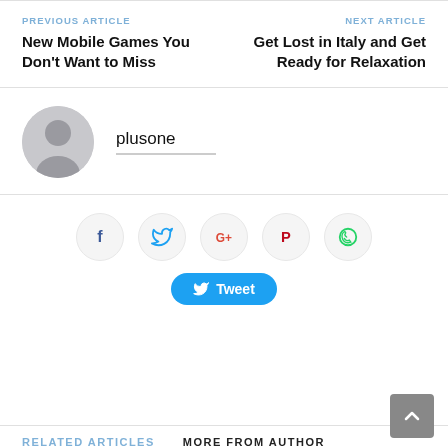PREVIOUS ARTICLE
New Mobile Games You Don’t Want to Miss
NEXT ARTICLE
Get Lost in Italy and Get Ready for Relaxation
plusone
[Figure (infographic): Social media share buttons: Facebook, Twitter, Google+, Pinterest, WhatsApp, and a Twitter Tweet button]
RELATED ARTICLES
MORE FROM AUTHOR